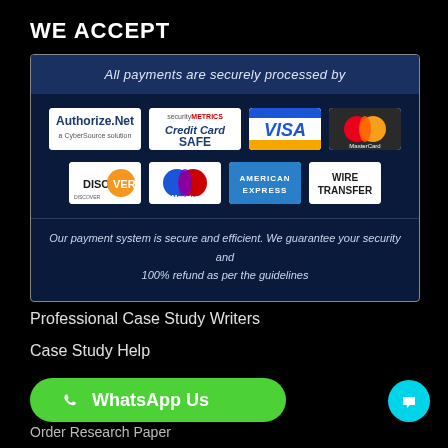WE ACCEPT
[Figure (infographic): Payment methods panel showing various accepted payment logos: Authorize.Net, SecurityMetrics Credit Card Safe, VISA, MasterCard, Discover, Maestro, American Express, Wire Transfer. Header reads 'All payments are securely processed by'. Footer text: 'Our payment system is secure and efficient. We guarantee your security and 100% refund as per the guidelines']
Professional Case Study Writers
Case Study Help
WhatsApp Us
Order Research Paper